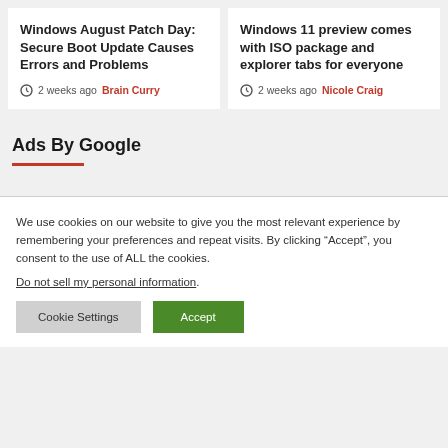Windows August Patch Day: Secure Boot Update Causes Errors and Problems
2 weeks ago  Brain Curry
Windows 11 preview comes with ISO package and explorer tabs for everyone
2 weeks ago  Nicole Craig
Ads By Google
We use cookies on our website to give you the most relevant experience by remembering your preferences and repeat visits. By clicking “Accept”, you consent to the use of ALL the cookies.
Do not sell my personal information.
Cookie Settings  Accept